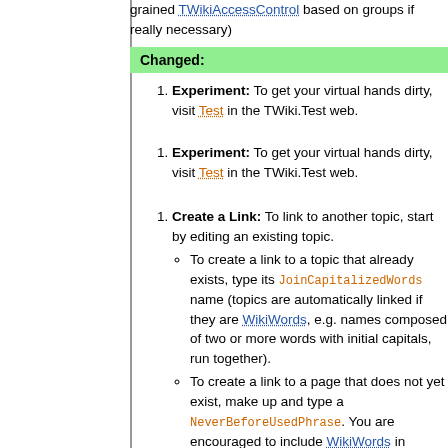grained TWikiAccessControl based on groups if really necessary)
Changed:
Experiment: To get your virtual hands dirty, visit Test in the TWiki.Test web.
Experiment: To get your virtual hands dirty, visit Test in the TWiki.Test web.
Create a Link: To link to another topic, start by editing an existing topic.
To create a link to a topic that already exists, type its JoinCapitalizedWords name (topics are automatically linked if they are WikiWords, e.g. names composed of two or more words with initial capitals, run together).
To create a link to a page that does not yet exist, make up and type a NeverBeforeUsedPhrase. You are encouraged to include WikiWords in